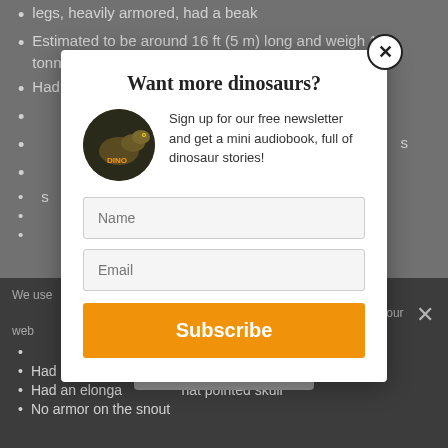legs, heavily armored, had a beak
Estimated to be around 16 ft (5 m) long and weigh 1.9 tonnes
Had a flat, broad body
[partially obscured]
[partially obscured] s
[partially obscured] and s
[partially obscured]
[partially obscured]
[partially obscured] es
[Figure (screenshot): Modal popup with title 'Want more dinosaurs?', circular dinosaur book image, newsletter signup description, Name and Email input fields, and orange Subscribe button]
We use [cookies] ... ence on our web[site] ... hat you
[partially obscured]
Had at least tw[o] ... s covering the neck
Had an elonga[ted] ... hat pointed skull
No armor on the snout